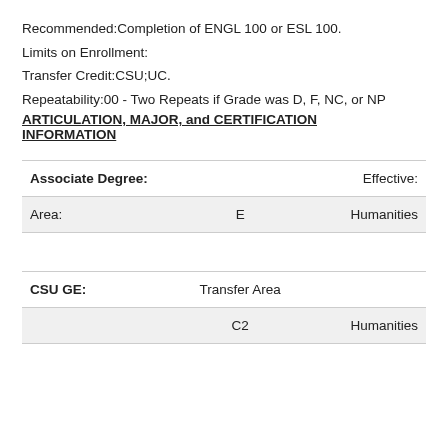Recommended:Completion of ENGL 100 or ESL 100.
Limits on Enrollment:
Transfer Credit:CSU;UC.
Repeatability:00 - Two Repeats if Grade was D, F, NC, or NP
ARTICULATION, MAJOR, and CERTIFICATION INFORMATION
| Associate Degree: |  | Effective: |
| --- | --- | --- |
| Area: | E | Humanities |
|  |  |  |
| CSU GE: | Transfer Area |  |
|  | C2 | Humanities |